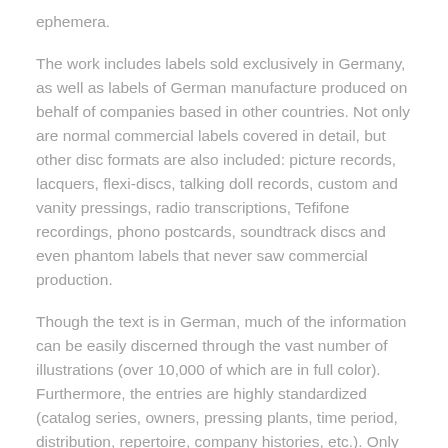ephemera.
The work includes labels sold exclusively in Germany, as well as labels of German manufacture produced on behalf of companies based in other countries. Not only are normal commercial labels covered in detail, but other disc formats are also included: picture records, lacquers, flexi-discs, talking doll records, custom and vanity pressings, radio transcriptions, Tefifone recordings, phono postcards, soundtrack discs and even phantom labels that never saw commercial production.
Though the text is in German, much of the information can be easily discerned through the vast number of illustrations (over 10,000 of which are in full color). Furthermore, the entries are highly standardized (catalog series, owners, pressing plants, time period, distribution, repertoire, company histories, etc.). Only 500 copies of this limited edition set will be published, and because the information pertains to virtually every country, language and genre of sound recording produced in the 70... it is noted that the hours in every country...